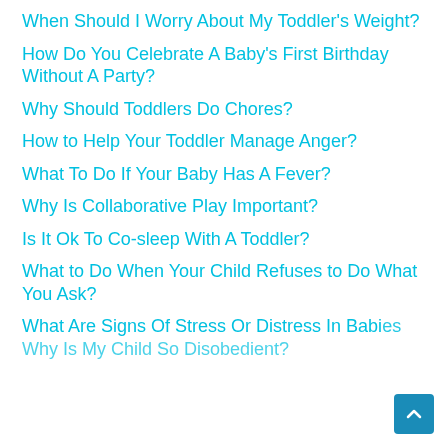When Should I Worry About My Toddler's Weight?
How Do You Celebrate A Baby's First Birthday Without A Party?
Why Should Toddlers Do Chores?
How to Help Your Toddler Manage Anger?
What To Do If Your Baby Has A Fever?
Why Is Collaborative Play Important?
Is It Ok To Co-sleep With A Toddler?
What to Do When Your Child Refuses to Do What You Ask?
What Are Signs Of Stress Or Distress In Babies?
Why Is My Child So Disobedient?